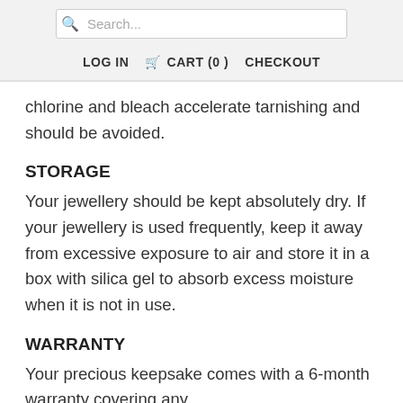Search... LOG IN CART (0) CHECKOUT
chlorine and bleach accelerate tarnishing and should be avoided.
STORAGE
Your jewellery should be kept absolutely dry. If your jewellery is used frequently, keep it away from excessive exposure to air and store it in a box with silica gel to absorb excess moisture when it is not in use.
WARRANTY
Your precious keepsake comes with a 6-month warranty covering any